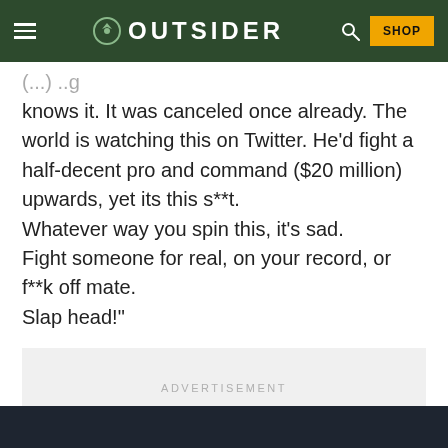OUTSIDER
(…) knows it. It was canceled once already. The world is watching this on Twitter. He’d fight a half-decent pro and command ($20 million) upwards, yet its this s**t.
Whatever way you spin this, it’s sad.
Fight someone for real, on your record, or f**k off mate.
Slap head!”
ADVERTISEMENT